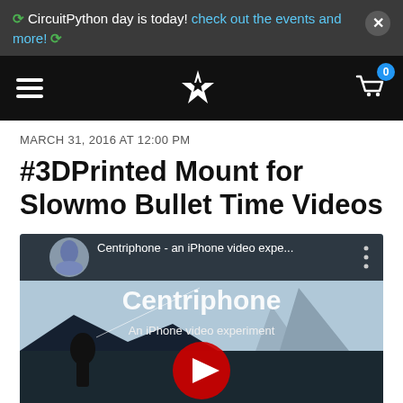CircuitPython day is today! check out the events and more!
[Figure (screenshot): Navigation bar with hamburger menu, Adafruit star logo, and shopping cart with badge showing 0]
MARCH 31, 2016 AT 12:00 PM
#3DPrinted Mount for Slowmo Bullet Time Videos
[Figure (screenshot): YouTube video thumbnail for Centriphone - an iPhone video experiment, showing a person spinning an iPhone on a rope over a mountain landscape with a red play button in the center]